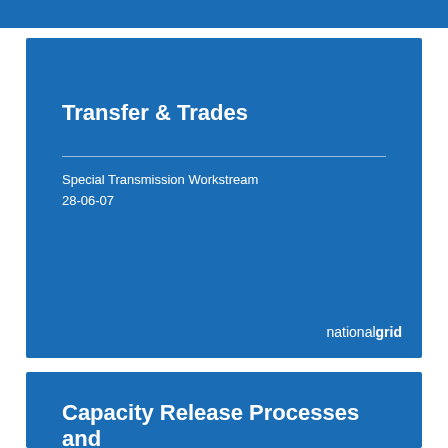[Figure (other): Top blue banner strip partially visible at top of page]
Transfer & Trades
Special Transmission Workstream
28-06-07
nationalgrid
Capacity Release Processes and